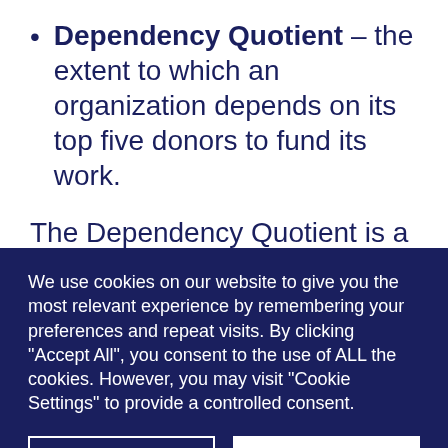Dependency Quotient – the extent to which an organization depends on its top five donors to fund its work.
The Dependency Quotient is a new measure that we introduced with this framework, which helps quantify the risk associated with dependence on a small group of donors. It provides an important
We use cookies on our website to give you the most relevant experience by remembering your preferences and repeat visits. By clicking “Accept All”, you consent to the use of ALL the cookies. However, you may visit "Cookie Settings" to provide a controlled consent.